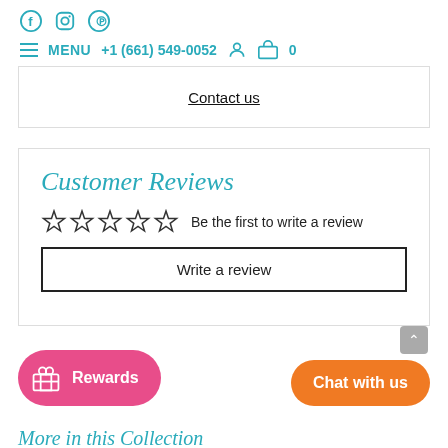f  (instagram)  (pinterest)  ≡ MENU  +1 (661) 549-0052  (user icon)  (bag icon) 0
Contact us
Customer Reviews
☆☆☆☆☆  Be the first to write a review
Write a review
Rewards
Chat with us
More in this Collection